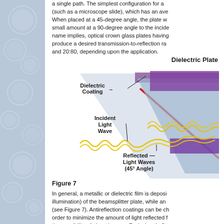a single path. The simplest configuration for a (such as a microscope slide), which has an ave When placed at a 45-degree angle, the plate w small amount at a 90-degree angle to the incide name implies, optical crown glass plates having produce a desired transmission-to-reflection ra and 20:80, depending upon the application.
[Figure (illustration): Diagram of a Dielectric Plate beamsplitter showing a glass plate at 45 degrees with labeled Dielectric Coating, Incident Light Wave, and Reflected Light Waves (45° Angle). Yellow wavy lines represent light waves passing through and reflecting off a blue/purple glass plate.]
Figure 7
In general, a metallic or dielectric film is deposi illumination) of the beamsplitter plate, while an (see Figure 7). Antireflection coatings can be ch order to minimize the amount of light reflected f the possibility of ghost images. Typical antirefl reflectivity at an incident angle of 45 degrees. D to reduce the amount of reflectance during trans